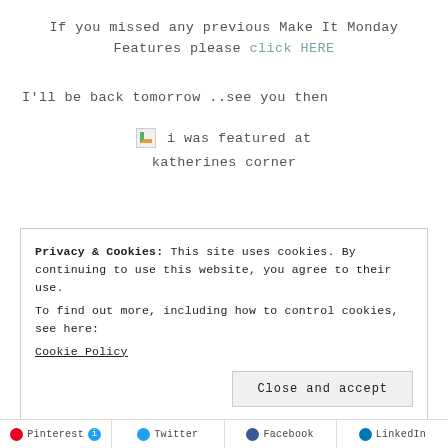If you missed any previous Make It Monday Features please click HERE
I'll be back tomorrow ..see you then
[Figure (illustration): Broken image placeholder followed by text 'i was featured at katherines corner']
Privacy & Cookies: This site uses cookies. By continuing to use this website, you agree to their use.
To find out more, including how to control cookies, see here:
Cookie Policy
Close and accept
Pinterest  Twitter  Facebook  LinkedIn